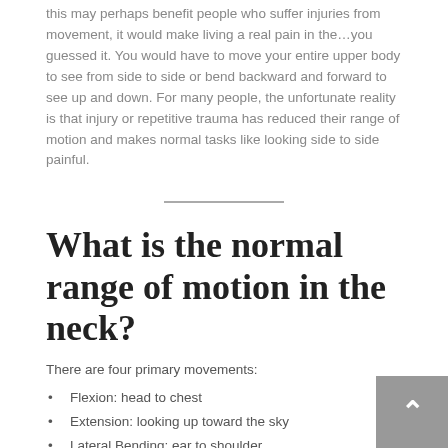this may perhaps benefit people who suffer injuries from movement, it would make living a real pain in the…you guessed it. You would have to move your entire upper body to see from side to side or bend backward and forward to see up and down. For many people, the unfortunate reality is that injury or repetitive trauma has reduced their range of motion and makes normal tasks like looking side to side painful.
What is the normal range of motion in the neck?
There are four primary movements:
Flexion: head to chest
Extension: looking up toward the sky
Lateral Bending: ear to shoulder
Rotation: turning your head so that your chin is over the shoulder (or thereabouts)
What limits the range of motion in